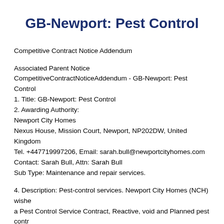GB-Newport: Pest Control
Competitive Contract Notice Addendum
Associated Parent Notice
CompetitiveContractNoticeAddendum - GB-Newport: Pest Control
1. Title: GB-Newport: Pest Control
2. Awarding Authority:
Newport City Homes
Nexus House, Mission Court, Newport, NP202DW, United Kingdom
Tel. +447719997206, Email: sarah.bull@newportcityhomes.com
Contact: Sarah Bull, Attn: Sarah Bull
Sub Type: Maintenance and repair services.
4. Description: Pest-control services. Newport City Homes (NCH) wishes to procure a Pest Control Service Contract, Reactive, void and Planned pest control for:
•External and Internal communal areas
•Schemes including high rise blocks
•All tenanted domestic properties, internally/externally
•All non-tenanted domestic properties, internally/externally